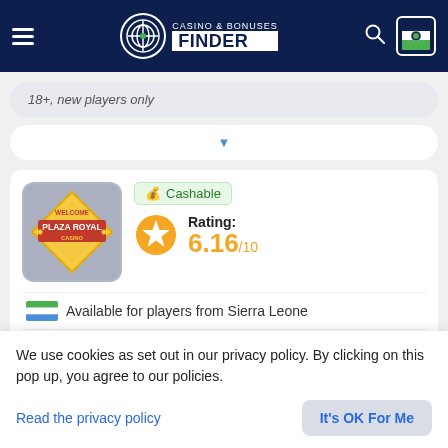Casino & Bonuses Finder
18+, new players only
[Figure (screenshot): Plaza Royal Casino logo on grey rounded square background]
Cashable
Rating: 6.16/10
Available for players from Sierra Leone
Third Deposit Bonus: 50%
We use cookies as set out in our privacy policy. By clicking on this pop up, you agree to our policies.
Read the privacy policy
It's OK For Me